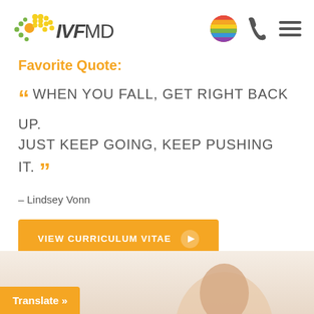[Figure (logo): IVFMD logo with colorful dot pattern and text]
[Figure (illustration): Rainbow circle icon, phone icon, and hamburger menu icon in navigation]
Favorite Quote:
“ WHEN YOU FALL, GET RIGHT BACK UP. JUST KEEP GOING, KEEP PUSHING IT. ”
– Lindsey Vonn
VIEW CURRICULUM VITAE
[Figure (photo): Partial view of a person's face/head at the bottom of the page]
Translate »